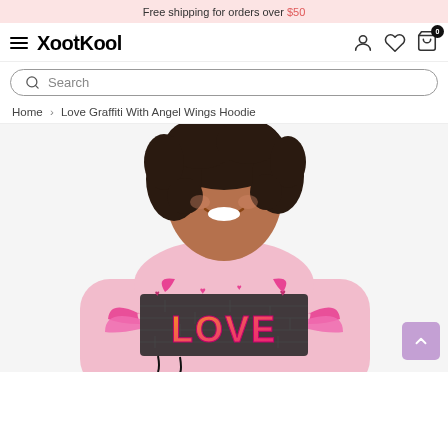Free shipping for orders over $50
[Figure (screenshot): XootKool e-commerce website navigation bar with hamburger menu, logo, user icon, heart/wishlist icon, and cart with 0 items badge]
Search
Home > Love Graffiti With Angel Wings Hoodie
[Figure (photo): Woman wearing a light pink hoodie with 'LOVE' graffiti graphic featuring angel wings and hearts on the front. The model is smiling and has curly dark hair.]